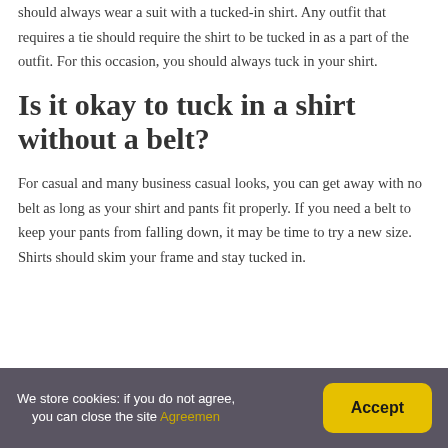should always wear a suit with a tucked-in shirt. Any outfit that requires a tie should require the shirt to be tucked in as a part of the outfit. For this occasion, you should always tuck in your shirt.
Is it okay to tuck in a shirt without a belt?
For casual and many business casual looks, you can get away with no belt as long as your shirt and pants fit properly. If you need a belt to keep your pants from falling down, it may be time to try a new size. Shirts should skim your frame and stay tucked in.
We store cookies: if you do not agree, you can close the site Agreemen
Accept